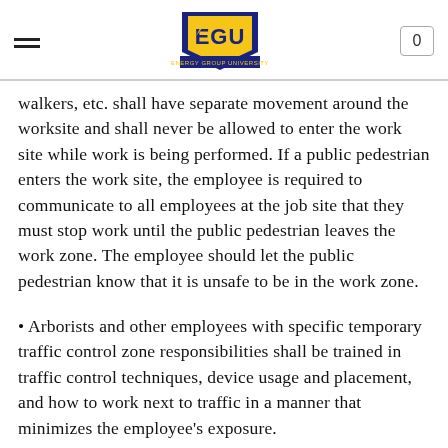EGU — Energy Group University
walkers, etc. shall have separate movement around the worksite and shall never be allowed to enter the work site while work is being performed. If a public pedestrian enters the work site, the employee is required to communicate to all employees at the job site that they must stop work until the public pedestrian leaves the work zone. The employee should let the public pedestrian know that it is unsafe to be in the work zone.
Arborists and other employees with specific temporary traffic control zone responsibilities shall be trained in traffic control techniques, device usage and placement, and how to work next to traffic in a manner that minimizes the employee's exposure.
Temporary traffic control zones set up by employees should impede the flow of traffic as little as possible. Arborists and other employees should use the